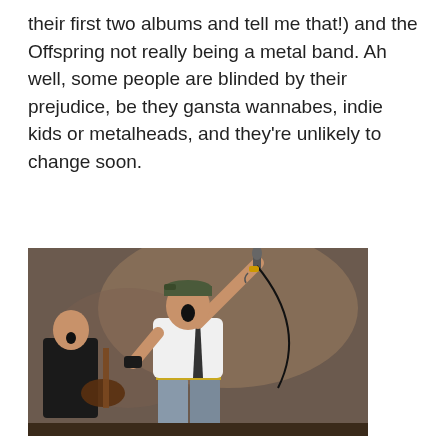their first two albums and tell me that!) and the Offspring not really being a metal band. Ah well, some people are blinded by their prejudice, be they gansta wannabes, indie kids or metalheads, and they're unlikely to change soon.
[Figure (photo): A male performer on stage holding a microphone high in the air with one arm raised, wearing a white shirt and dark tie, with tattoos on his arms. A guitarist in a black t-shirt is visible in the background on the left.]